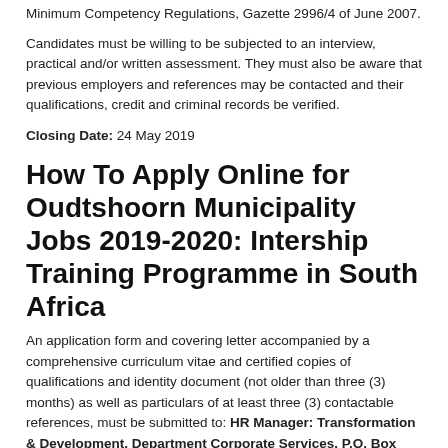Minimum Competency Regulations, Gazette 2996/4 of June 2007.
Candidates must be willing to be subjected to an interview, practical and/or written assessment. They must also be aware that previous employers and references may be contacted and their qualifications, credit and criminal records be verified.
Closing Date: 24 May 2019
How To Apply Online for Oudtshoorn Municipality Jobs 2019-2020: Intership Training Programme in South Africa
An application form and covering letter accompanied by a comprehensive curriculum vitae and certified copies of qualifications and identity document (not older than three (3) months) as well as particulars of at least three (3) contactable references, must be submitted to: HR Manager: Transformation & Development, Department Corporate Services, P.O. Box 255, Oudtshoorn, 6620 (submit applications to Recruitment & Selection section),